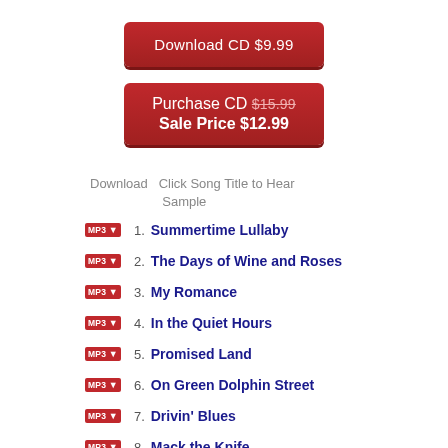Download CD $9.99
Purchase CD $15.99
Sale Price $12.99
Download  Click Song Title to Hear Sample
1. Summertime Lullaby
2. The Days of Wine and Roses
3. My Romance
4. In the Quiet Hours
5. Promised Land
6. On Green Dolphin Street
7. Drivin' Blues
8. Mack the Knife